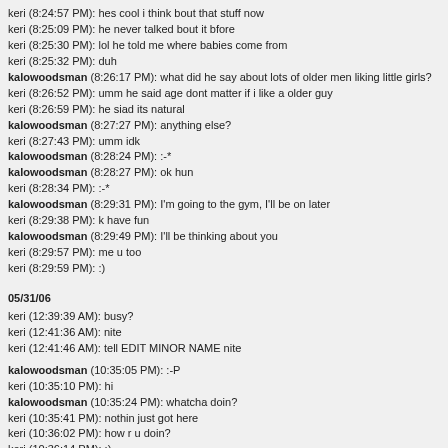keri (8:24:57 PM): hes cool i think bout that stuff now
keri (8:25:09 PM): he never talked bout it bfore
keri (8:25:30 PM): lol he told me where babies come from
keri (8:25:32 PM): duh
kalowoodsman (8:26:17 PM): what did he say about lots of older men liking little girls?
keri (8:26:52 PM): umm he said age dont matter if i like a older guy
keri (8:26:59 PM): he siad its natural
kalowoodsman (8:27:27 PM): anything else?
keri (8:27:43 PM): umm idk
kalowoodsman (8:28:24 PM): :-*
kalowoodsman (8:28:27 PM): ok hun
keri (8:28:34 PM): :-*
kalowoodsman (8:29:31 PM): I'm going to the gym, I'll be on later
keri (8:29:38 PM): k have fun
kalowoodsman (8:29:49 PM): I'll be thinking about you
keri (8:29:57 PM): me u too
keri (8:29:59 PM): :)
05/31/06
keri (12:39:39 AM): busy?
keri (12:41:36 AM): nite
keri (12:41:46 AM): tell EDIT MINOR NAME nite
kalowoodsman (10:35:05 PM): :-P
keri (10:35:10 PM): hi
kalowoodsman (10:35:24 PM): whatcha doin?
keri (10:35:41 PM): nothin just got here
keri (10:36:02 PM): how r u doin?
keri (10:36:14 PM): :)
kalowoodsman (10:36:16 PM): from where?
keri (10:36:31 PM): i was on before
keri (10:36:40 PM): then i went outside a while
keri (10:36:43 PM): its hot
kalowoodsman (10:37:16 PM): it feels good here
keri (10:38:10 PM): our ac isnt working
keri (10:38:15 PM): its like 101 lol
keri (10:38:21 PM): feels like it